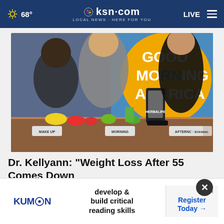68° ksn.com LOCAL NEWS · HERE FOR YOU LIVE
[Figure (photo): TV segment photo from Good Morning America showing three women standing behind a table with food, smoothies, blender, and labeled signs for MAKE UP, MORNING, AFTERNOON, EVENING. A large yellow and blue Good Morning America logo is visible in the background.]
Dr. Kellyann: "Weight Loss After 55 Comes Down to This Daily Routine"
Dr. Ke
[Figure (screenshot): Advertisement for Kumon reading program. Shows KUMON logo, text 'develop & build critical reading skills', and a 'Register Today →' call to action button.]